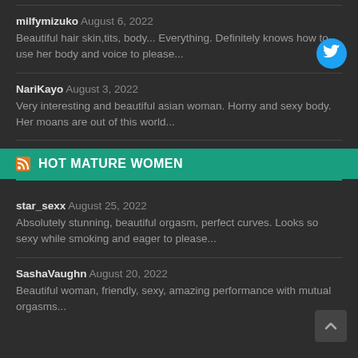milfymizuko August 6, 2022
Beautiful hair skin,tits, body... Everything. Definitely knows how to use her body and voice to please...
NariKayo August 3, 2022
Very interesting and beautiful asian woman. Horny and sexy body. Her moans are out of this world...
HOT MATURE WOMEN
star_sexx August 25, 2022
Absolutely stunning, beautiful orgasm, perfect curves. Looks so sexy while smoking and eager to please...
SashaVaughn August 20, 2022
Beautiful woman, friendly, sexy, amazing performance with mutual orgasms...